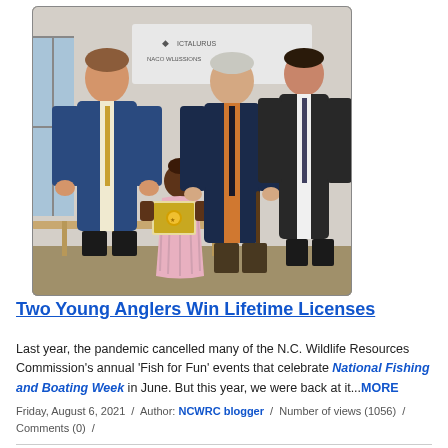[Figure (photo): Three adults and a child standing together indoors. A young girl in a pink and white dress holds a framed certificate or award. The adults are dressed in business attire. Background shows a whiteboard with text partially visible.]
Two Young Anglers Win Lifetime Licenses
Last year, the pandemic cancelled many of the N.C. Wildlife Resources Commission's annual 'Fish for Fun' events that celebrate National Fishing and Boating Week in June. But this year, we were back at it...MORE
Friday, August 6, 2021  /  Author: NCWRC blogger  /  Number of views (1056)  /  Comments (0)  /